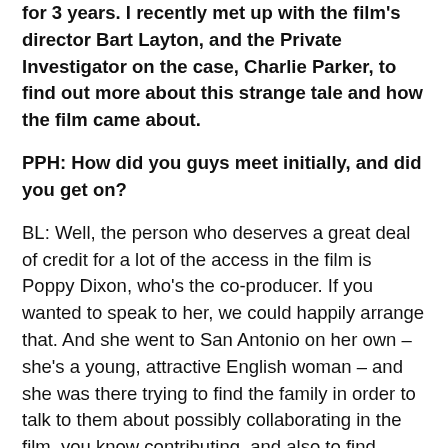for 3 years. I recently met up with the film's director Bart Layton, and the Private Investigator on the case, Charlie Parker, to find out more about this strange tale and how the film came about.
PPH: How did you guys meet initially, and did you get on?
BL: Well, the person who deserves a great deal of credit for a lot of the access in the film is Poppy Dixon, who's the co-producer. If you wanted to speak to her, we could happily arrange that. And she went to San Antonio on her own – she's a young, attractive English woman – and she was there trying to find the family in order to talk to them about possibly collaborating in the film, you know contributing, and also to find Charlie, and of course she found Charlie, and then Charlie helped her, because being